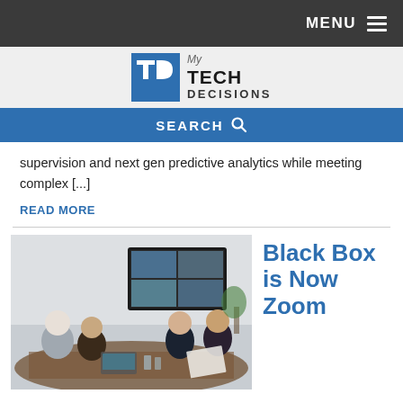MENU
[Figure (logo): My Tech Decisions logo with blue TD icon]
SEARCH
supervision and next gen predictive analytics while meeting complex [...]
READ MORE
[Figure (photo): Business meeting room with people around a table and a video conference screen on the wall showing remote participants]
Black Box is Now Zoom